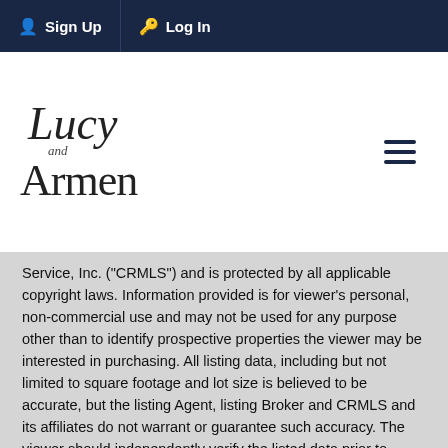Sign Up  Log In
[Figure (logo): Lucy and Armen script/serif logo with hamburger menu icon]
Service, Inc. ("CRMLS") and is protected by all applicable copyright laws. Information provided is for viewer's personal, non-commercial use and may not be used for any purpose other than to identify prospective properties the viewer may be interested in purchasing. All listing data, including but not limited to square footage and lot size is believed to be accurate, but the listing Agent, listing Broker and CRMLS and its affiliates do not warrant or guarantee such accuracy. The viewer should independently verify the listed data prior to making any decisions based on such information by personal inspection and/or contacting a real estate professional.
Based on information from California Regional Multiple Listing Service, Inc. as of the most recent time synced